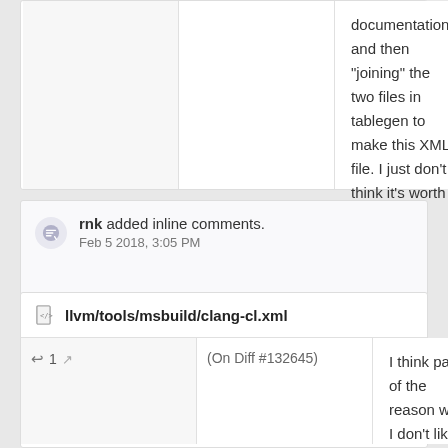documentation, and then "joining" the two files in tablegen to make this XML file. I just don't think it's worth it, though.
rnk added inline comments. Feb 5 2018, 3:05 PM
llvm/tools/msbuild/clang-cl.xml
1 (On Diff #132645)
I think part of the reason why I don't like the idea of loading this all into tablegen is that editing tablegen files sucks. We have all these ad-hoc conventions for adding line breaks, but they're all...